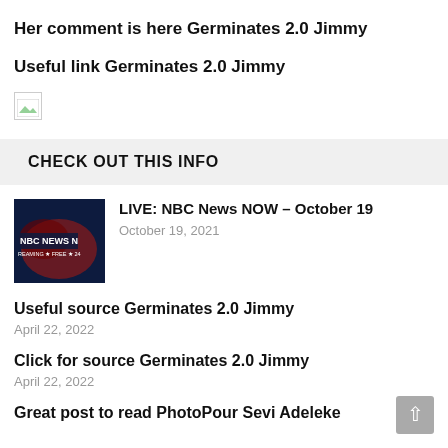Her comment is here Germinates 2.0 Jimmy
Useful link Germinates 2.0 Jimmy
[Figure (illustration): Broken image placeholder icon]
CHECK OUT THIS INFO
[Figure (photo): NBC News NOW thumbnail - dark blue background with NBC NEWS logo text and STREAMING FREE 24 text]
LIVE: NBC News NOW – October 19
October 19, 2021
Useful source Germinates 2.0 Jimmy
April 22, 2022
Click for source Germinates 2.0 Jimmy
April 22, 2022
Great post to read PhotoPour Sevi Adeleke